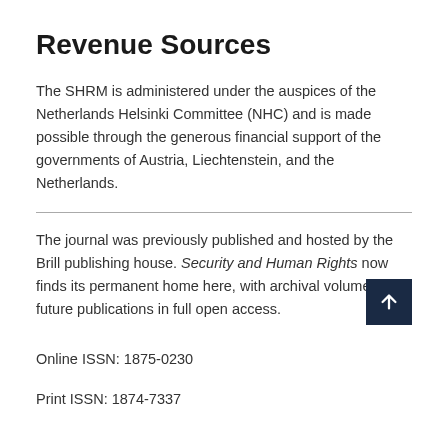Revenue Sources
The SHRM is administered under the auspices of the Netherlands Helsinki Committee (NHC) and is made possible through the generous financial support of the governments of Austria, Liechtenstein, and the Netherlands.
The journal was previously published and hosted by the Brill publishing house. Security and Human Rights now finds its permanent home here, with archival volumes and future publications in full open access.
Online ISSN: 1875-0230
Print ISSN: 1874-7337